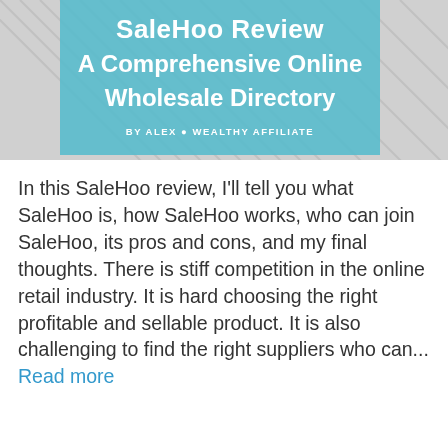[Figure (illustration): Hero banner image with teal/cyan overlay containing the title 'SaleHoo Review A Comprehensive Online Wholesale Directory' in white bold text, with subtitle 'BY ALEX @ WEALTHY AFFILIATE' in white caps. Background shows abstract diagonal lines in grey.]
In this SaleHoo review, I'll tell you what SaleHoo is, how SaleHoo works, who can join SaleHoo, its pros and cons, and my final thoughts. There is stiff competition in the online retail industry. It is hard choosing the right profitable and sellable product. It is also challenging to find the right suppliers who can... Read more